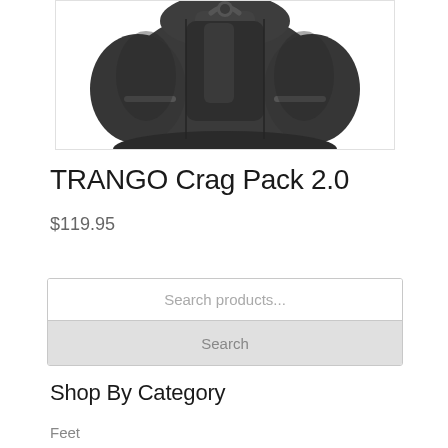[Figure (photo): Dark gray/charcoal climbing backpack (TRANGO Crag Pack 2.0) shown from behind, cropped at top showing the bottom portion of the pack with side panels and compression straps]
TRANGO Crag Pack 2.0
$119.95
Search products...
Search
Shop By Category
Feet